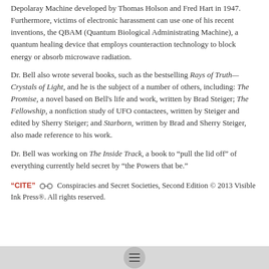Depolaray Machine developed by Thomas Holson and Fred Hart in 1947. Furthermore, victims of electronic harassment can use one of his recent inventions, the QBAM (Quantum Biological Administrating Machine), a quantum healing device that employs counteraction technology to block energy or absorb microwave radiation.
Dr. Bell also wrote several books, such as the bestselling Rays of Truth—Crystals of Light, and he is the subject of a number of others, including: The Promise, a novel based on Bell's life and work, written by Brad Steiger; The Fellowship, a nonfiction study of UFO contactees, written by Steiger and edited by Sherry Steiger; and Starborn, written by Brad and Sherry Steiger, also made reference to his work.
Dr. Bell was working on The Inside Track, a book to "pull the lid off" of everything currently held secret by "the Powers that be."
"CITE" [link icon] Conspiracies and Secret Societies, Second Edition © 2013 Visible Ink Press®. All rights reserved.